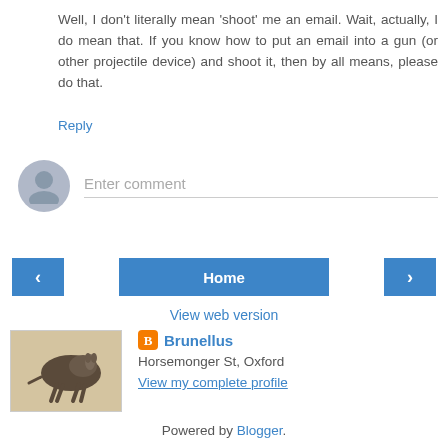Well, I don't literally mean 'shoot' me an email. Wait, actually, I do mean that. If you know how to put an email into a gun (or other projectile device) and shoot it, then by all means, please do that.
Reply
Enter comment
Home
View web version
[Figure (photo): Profile image of a donkey illustration in an old/medieval style]
Brunellus
Horsemonger St, Oxford
View my complete profile
Powered by Blogger.